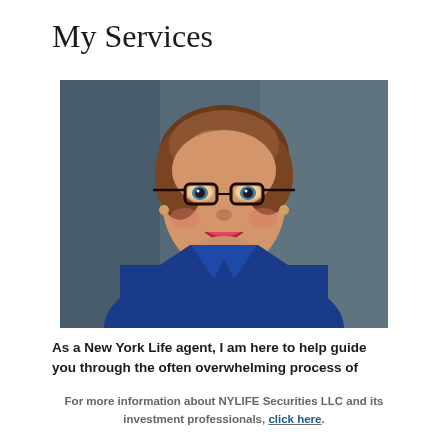My Services
[Figure (photo): Professional headshot of a woman with brown hair, glasses, blue jacket, and bead necklace, smiling against a dark blue-grey background.]
As a New York Life agent, I am here to help guide you through the often overwhelming process of
For more information about NYLIFE Securities LLC and its investment professionals, click here.